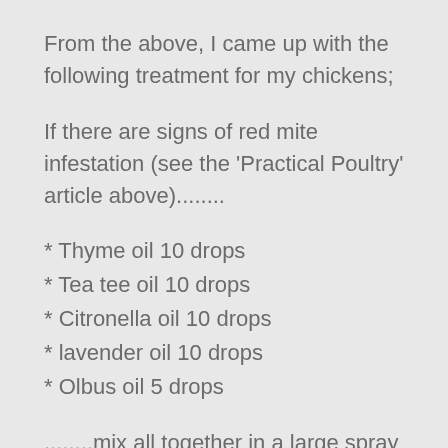From the above, I came up with the following treatment for my chickens;
If there are signs of red mite infestation (see the 'Practical Poultry' article above)........
* Thyme oil 10 drops
* Tea tee oil 10 drops
* Citronella oil 10 drops
* lavender oil 10 drops
* Olbus oil 5 drops
........mix all together in a large spray container, ideally with a little vodka ( or other spirit) to help